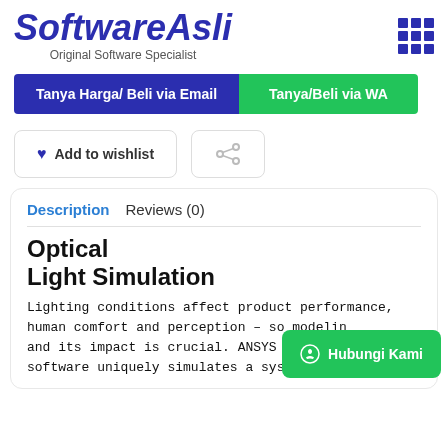[Figure (logo): SoftwareAsli logo with italic bold blue text and subtitle 'Original Software Specialist']
Tanya Harga/ Beli via Email
Tanya/Beli via WA
♥ Add to wishlist
[Figure (other): Share/shuffle icon button]
Description
Reviews (0)
Optical Light Simulation
Lighting conditions affect product performance, human comfort and perception – so modeling and its impact is crucial. ANSYS optic software uniquely simulates a system's optical
Hubungi Kami